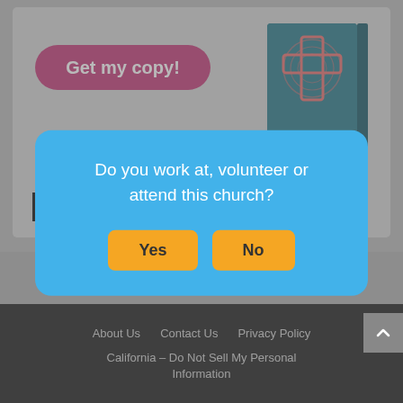[Figure (screenshot): Top section of a church finder website showing a 'Get my copy!' pink button and a book with a cross/fingerprint design, along with Leading the Way and globe logos]
Churches and Christian organizations... by city, ... United States... easy to browse... online Christian... a church or find a church that meets your spiritual needs. Find a church today!
[Figure (other): Modal dialog box with blue background asking 'Do you work at, volunteer or attend this church?' with Yes and No buttons in orange/yellow]
About Us   Contact Us   Privacy Policy   California – Do Not Sell My Personal Information